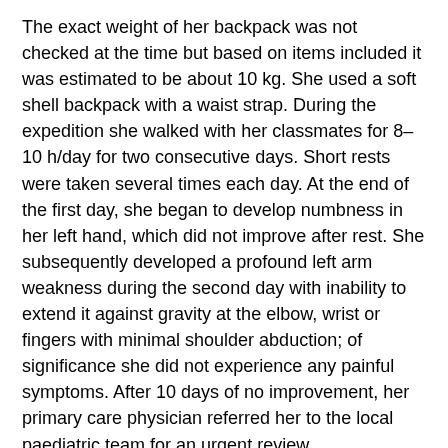The exact weight of her backpack was not checked at the time but based on items included it was estimated to be about 10 kg. She used a soft shell backpack with a waist strap. During the expedition she walked with her classmates for 8–10 h/day for two consecutive days. Short rests were taken several times each day. At the end of the first day, she began to develop numbness in her left hand, which did not improve after rest. She subsequently developed a profound left arm weakness during the second day with inability to extend it against gravity at the elbow, wrist or fingers with minimal shoulder abduction; of significance she did not experience any painful symptoms. After 10 days of no improvement, her primary care physician referred her to the local paediatric team for an urgent review.
The neurological examination of her left arm showed no reduced muscle bulk or fasciculations. There was full range of passive movements; however, active movements were markedly reduced when compared to the contralateral arm. The most marked limitations were seen at wrist, fingers (MRC 0) and elbow extension (MRC 1). Less marked deficit was detected at shoulder elevation and abduction (MRC 3),